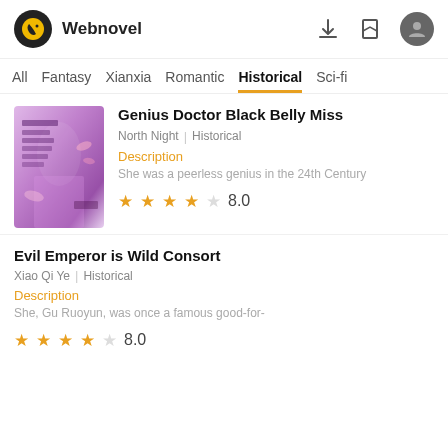Webnovel
All | Fantasy | Xianxia | Romantic | Historical | Sci-fi
Genius Doctor Black Belly Miss
North Night | Historical
Description
She was a peerless genius in the 24th Century
★★★★☆  8.0
Evil Emperor is Wild Consort
Xiao Qi Ye | Historical
Description
She, Gu Ruoyun, was once a famous good-for-
★★★★☆  8.0